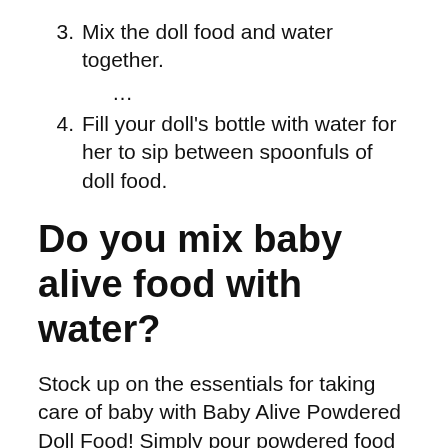3. Mix the doll food and water together.
…
4. Fill your doll's bottle with water for her to sip between spoonfuls of doll food.
Do you mix baby alive food with water?
Stock up on the essentials for taking care of baby with Baby Alive Powdered Doll Food! Simply pour powdered food packet into bowl (not included), add 3 teaspoons/15 ml of water, and mix. … Kids can have fun pretending to feeding their baby dolls, like a real mommy or daddy would!
Does Baby Alive get moldy?